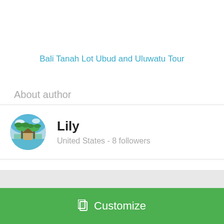Bali Tanah Lot Ubud and Uluwatu Tour
About author
Lily
United States - 8 followers
Interested in this itinerary ?
Customize